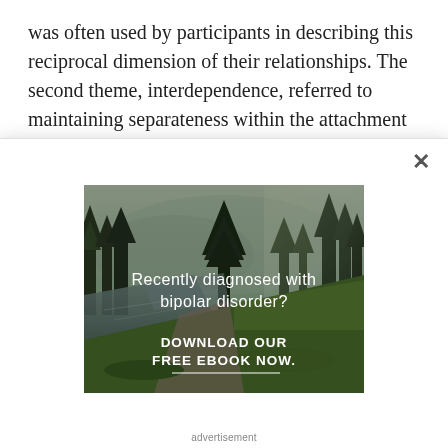was often used by participants in describing this reciprocal dimension of their relationships. The second theme, interdependence, referred to maintaining separateness within the attachment to a partner. Maintaining interpersonal boundaries in these
[Figure (other): Advertisement modal overlay with a nature/forest scene (river, pine trees, misty mountains). Text on image reads 'Recently diagnosed with bipolar disorder?' and 'DOWNLOAD OUR FREE EBOOK NOW.' with a close (×) button. Caption below reads 'advertisement'.]